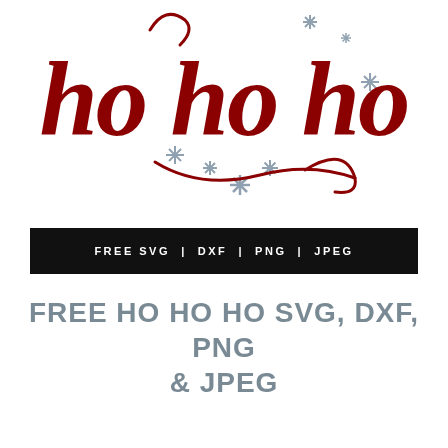[Figure (illustration): Hand-lettered cursive 'ho ho ho' text in dark red/crimson with decorative snowflake asterisk symbols in steel blue/grey scattered around the text]
FREE SVG | DXF | PNG | JPEG
FREE HO HO HO SVG, DXF, PNG & JPEG